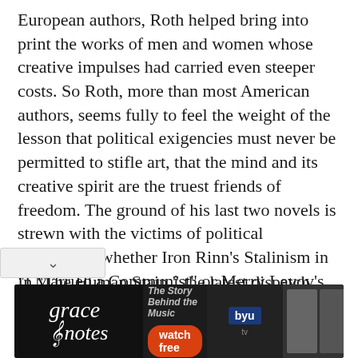European authors, Roth helped bring into print the works of men and women whose creative impulses had carried even steeper costs. So Roth, more than most American authors, seems fully to feel the weight of the lesson that political exigencies must never be permitted to stifle art, that the mind and its creative spirit are the truest friends of freedom. The ground of his last two novels is strewn with the victims of political extremism, whether Iron Rinn's Stalinism in "I Married a Communist" or Merry Levov's militant anti-Americanism in "American Pastoral."
In "The Human Stain," the latest dispatch from Roth's first-person alter ego, the aged, wistful, stateless Nathan Zuckerman, the dangers of
[Figure (other): Advertisement banner for 'Grace Notes' - The Story Behind the Music, watch free on BYU tv, featuring silhouettes of performers]